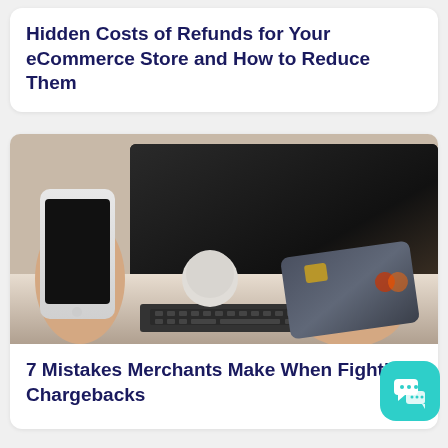Hidden Costs of Refunds for Your eCommerce Store and How to Reduce Them
[Figure (photo): Person holding a smartphone in one hand and a credit card in the other, with a laptop keyboard in the foreground and a laptop screen in the background.]
7 Mistakes Merchants Make When Fighting Chargebacks